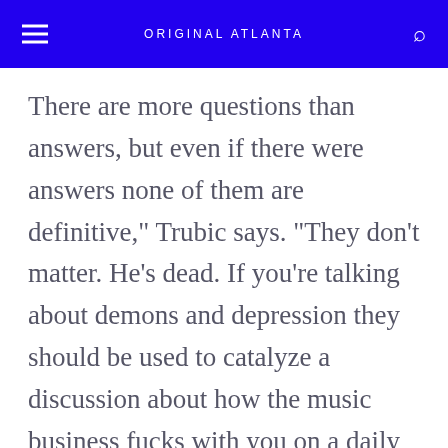ORIGINAL ATLANTA
There are more questions than answers, but even if there were answers none of them are definitive," Trubic says. "They don't matter. He's dead. If you're talking about demons and depression they should be used to catalyze a discussion about how the music business fucks with you on a daily basis and is not conducive to a normal lifestyle, and if you have a chemical disorder it makes it 10 times